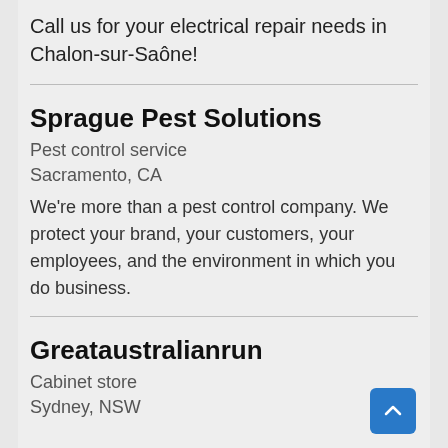Call us for your electrical repair needs in Chalon-sur-Saône!
Sprague Pest Solutions
Pest control service
Sacramento, CA
We're more than a pest control company. We protect your brand, your customers, your employees, and the environment in which you do business.
Greataustralianrun
Cabinet store
Sydney, NSW